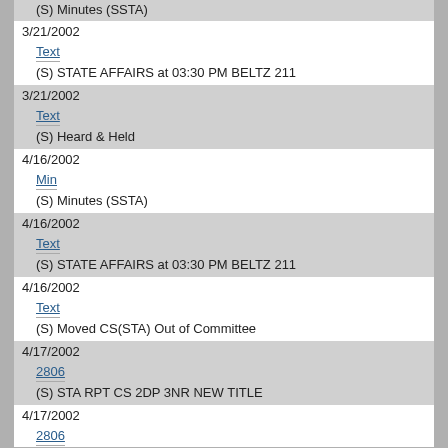(S) Minutes (SSTA)
3/21/2002 | Text | (S) STATE AFFAIRS at 03:30 PM BELTZ 211
3/21/2002 | Text | (S) Heard & Held
4/16/2002 | Min | (S) Minutes (SSTA)
4/16/2002 | Text | (S) STATE AFFAIRS at 03:30 PM BELTZ 211
4/16/2002 | Text | (S) Moved CS(STA) Out of Committee
4/17/2002 | 2806 | (S) STA RPT CS 2DP 3NR NEW TITLE
4/17/2002 | 2806